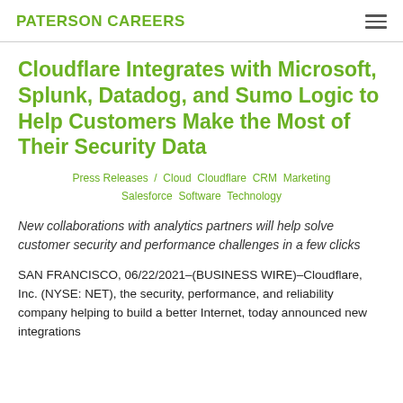PATERSON CAREERS
Cloudflare Integrates with Microsoft, Splunk, Datadog, and Sumo Logic to Help Customers Make the Most of Their Security Data
Press Releases / Cloud Cloudflare CRM Marketing Salesforce Software Technology
New collaborations with analytics partners will help solve customer security and performance challenges in a few clicks
SAN FRANCISCO, 06/22/2021–(BUSINESS WIRE)–Cloudflare, Inc. (NYSE: NET), the security, performance, and reliability company helping to build a better Internet, today announced new integrations